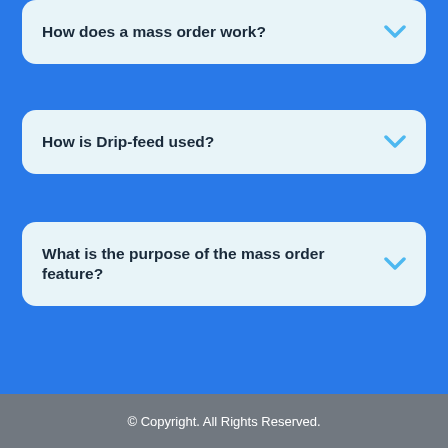How does a mass order work?
How is Drip-feed used?
What is the purpose of the mass order feature?
© Copyright. All Rights Reserved.